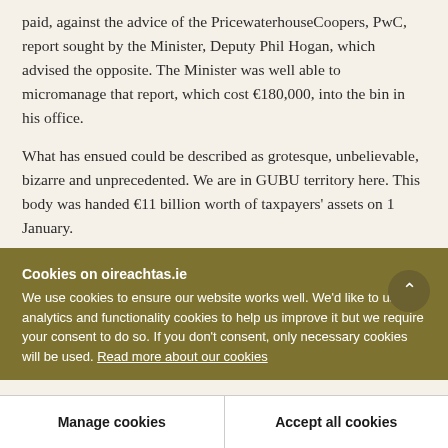paid, against the advice of the PricewaterhouseCoopers, PwC, report sought by the Minister, Deputy Phil Hogan, which advised the opposite. The Minister was well able to micromanage that report, which cost €180,000, into the bin in his office.

What has ensued could be described as grotesque, unbelievable, bizarre and unprecedented. We are in GUBU territory here. This body was handed €11 billion worth of taxpayers' assets on 1 January.
Cookies on oireachtas.ie
We use cookies to ensure our website works well. We'd like to use analytics and functionality cookies to help us improve it but we require your consent to do so. If you don't consent, only necessary cookies will be used. Read more about our cookies
Manage cookies
Accept all cookies